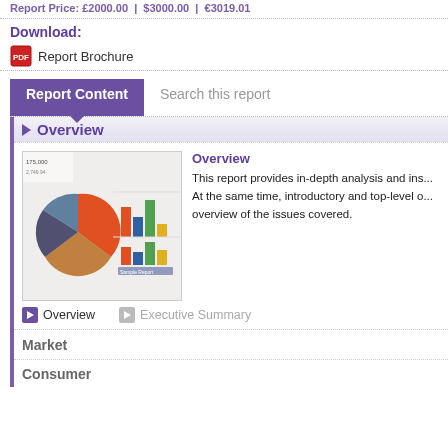Report Price: £2000.00 | $3000.00 | €3019.01
Download:
Report Brochure
Report Content | Search this report
Overview
[Figure (photo): Photo of printed financial report pages showing bar charts and pie charts]
Overview
This report provides in-depth analysis and ins... At the same time, introductory and top-level o... overview of the issues covered.
Overview
Executive Summary
Market
Consumer